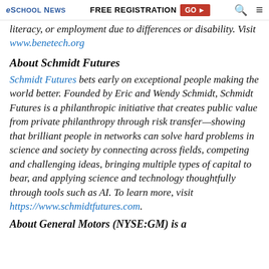eSchool News | FREE REGISTRATION GO ▶ 🔍 ≡
literacy, or employment due to differences or disability. Visit www.benetech.org
About Schmidt Futures
Schmidt Futures bets early on exceptional people making the world better. Founded by Eric and Wendy Schmidt, Schmidt Futures is a philanthropic initiative that creates public value from private philanthropy through risk transfer—showing that brilliant people in networks can solve hard problems in science and society by connecting across fields, competing and challenging ideas, bringing multiple types of capital to bear, and applying science and technology thoughtfully through tools such as AI. To learn more, visit https://www.schmidtfutures.com.
About General Motors General Motors (NYSE:GM) is a